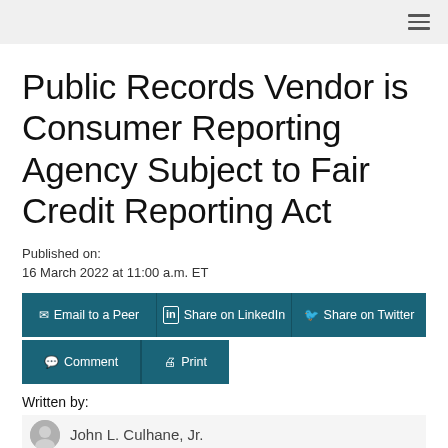Public Records Vendor is Consumer Reporting Agency Subject to Fair Credit Reporting Act
Published on:
16 March 2022 at 11:00 a.m. ET
Email to a Peer | Share on LinkedIn | Share on Twitter
Comment | Print
Written by:
John L. Culhane, Jr.